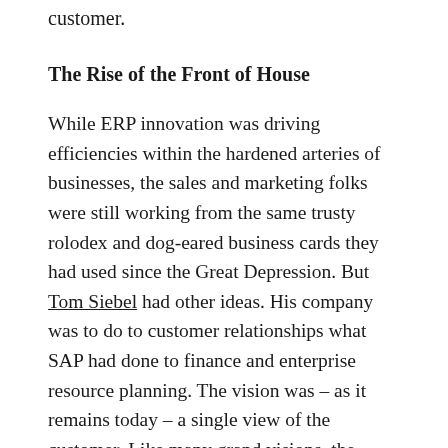customer.
The Rise of the Front of House
While ERP innovation was driving efficiencies within the hardened arteries of businesses, the sales and marketing folks were still working from the same trusty rolodex and dog-eared business cards they had used since the Great Depression. But Tom Siebel had other ideas. His company was to do to customer relationships what SAP had done to finance and enterprise resource planning. The vision was – as it remains today – a single view of the customer. Like many grand visions, the reality remains tantalisingly out of reach.